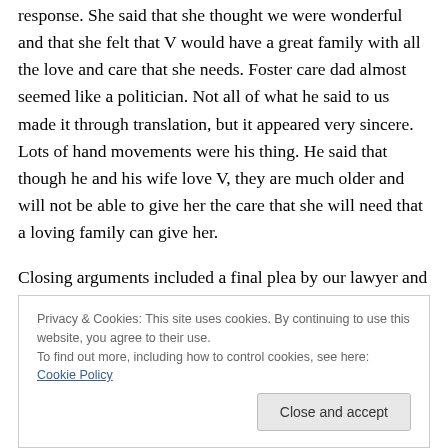response. She said that she thought we were wonderful and that she felt that V would have a great family with all the love and care that she needs. Foster care dad almost seemed like a politician. Not all of what he said to us made it through translation, but it appeared very sincere. Lots of hand movements were his thing. He said that though he and his wife love V, they are much older and will not be able to give her the care that she will need that a loving family can give her.
Closing arguments included a final plea by our lawyer and the other parties also had their say. We...
Privacy & Cookies: This site uses cookies. By continuing to use this website, you agree to their use.
To find out more, including how to control cookies, see here: Cookie Policy
[Close and accept]